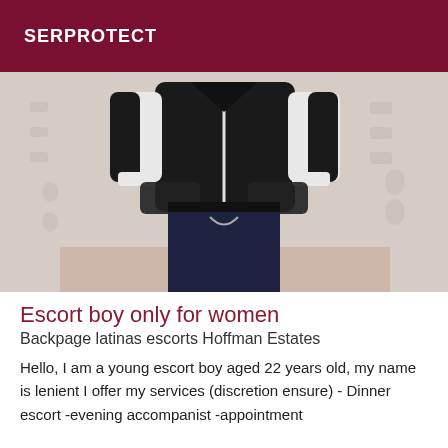SERPROTECT
[Figure (photo): A person standing facing the camera wearing a black and white jacket and dark jeans, with hands in pockets, photographed from neck down against a light patterned wall background.]
Escort boy only for women
Backpage latinas escorts Hoffman Estates
Hello, I am a young escort boy aged 22 years old, my name is lenient I offer my services (discretion ensure) - Dinner escort -evening accompanist -appointment